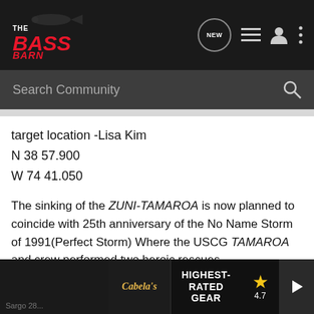[Figure (screenshot): The Bass Barn website navigation bar with logo, NEW chat icon, list icon, user icon, and more options icon on dark background]
[Figure (screenshot): Search Community search bar with magnifying glass icon on dark grey background]
target location -Lisa Kim
N 38 57.900
W 74 41.050
The sinking of the ZUNI-TAMAROA is now planned to coincide with 25th anniversary of the No Name Storm of 1991(Perfect Storm) Where the USCG TAMAROA and crew performed two heroic rescues.
To find out more or donated to current or future projects visit
www.thesportfishingfund.org
[Figure (screenshot): Cabela's advertisement banner: HIGHEST-RATED GEAR with star rating 4.7 and binoculars image]